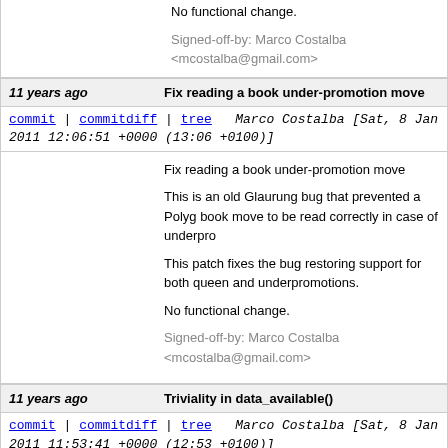No functional change.
Signed-off-by: Marco Costalba <mcostalba@gmail.com>
11 years ago   Fix reading a book under-promotion move
commit | commitdiff | tree   Marco Costalba [Sat, 8 Jan 2011 12:06:51 +0000 (13:06 +0100)]
Fix reading a book under-promotion move

This is an old Glaurung bug that prevented a Poly book move to be read correctly in case of underpr

This patch fixes the bug restoring support for both queen and underpromotions.

No functional change.

Signed-off-by: Marco Costalba <mcostalba@gmail.com>
11 years ago   Triviality in data_available()
commit | commitdiff | tree   Marco Costalba [Sat, 8 Jan 2011 11:53:41 +0000 (12:53 +0100)]
Triviality in data_available()